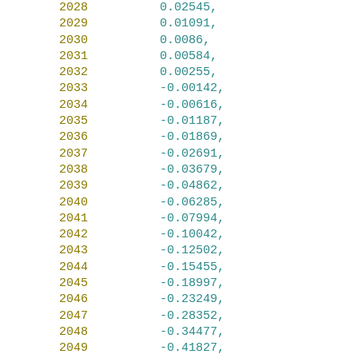| year | value |
| --- | --- |
| 2028 | 0.02545, |
| 2029 | 0.01091, |
| 2030 | 0.0086, |
| 2031 | 0.00584, |
| 2032 | 0.00255, |
| 2033 | -0.00142, |
| 2034 | -0.00616, |
| 2035 | -0.01187, |
| 2036 | -0.01869, |
| 2037 | -0.02691, |
| 2038 | -0.03679, |
| 2039 | -0.04862, |
| 2040 | -0.06285, |
| 2041 | -0.07994, |
| 2042 | -0.10042, |
| 2043 | -0.12502, |
| 2044 | -0.15455, |
| 2045 | -0.18997, |
| 2046 | -0.23249, |
| 2047 | -0.28352, |
| 2048 | -0.34477, |
| 2049 | -0.41827, |